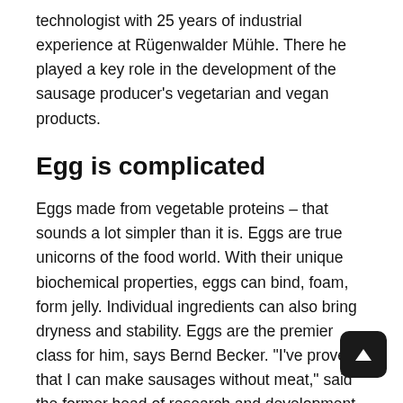technologist with 25 years of industrial experience at Rügenwalder Mühle. There he played a key role in the development of the sausage producer's vegetarian and vegan products.
Egg is complicated
Eggs made from vegetable proteins – that sounds a lot simpler than it is. Eggs are true unicorns of the food world. With their unique biochemical properties, eggs can bind, foam, form jelly. Individual ingredients can also bring dryness and stability. Eggs are the premier class for him, says Bernd Becker. "I've proven that I can make sausages without meat," said the former head of research and development at Rügenwalder Mühle, that was difficult enough!"
The challenge after that was to get the egg from his old